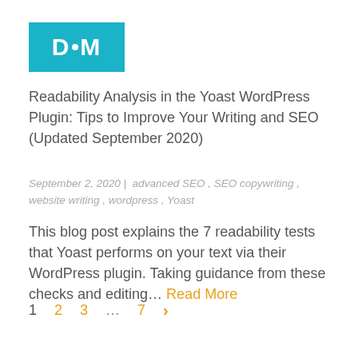[Figure (logo): DoM logo — teal/cyan rectangle with white bold text 'D•M' where the bullet is a white circle]
Readability Analysis in the Yoast WordPress Plugin: Tips to Improve Your Writing and SEO (Updated September 2020)
September 2, 2020 | advanced SEO , SEO copywriting , website writing , wordpress , Yoast
This blog post explains the 7 readability tests that Yoast performs on your text via their WordPress plugin. Taking guidance from these checks and editing… Read More
1  2  3  …  7  >